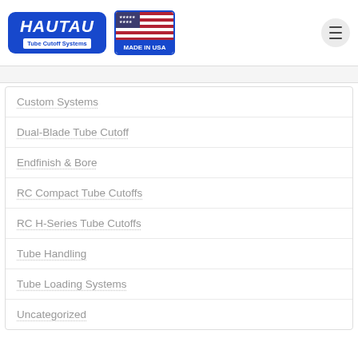[Figure (logo): Hautau Tube Cutoff Systems blue rounded logo with white text]
[Figure (logo): Made in USA badge with American flag]
Custom Systems
Dual-Blade Tube Cutoff
Endfinish & Bore
RC Compact Tube Cutoffs
RC H-Series Tube Cutoffs
Tube Handling
Tube Loading Systems
Uncategorized